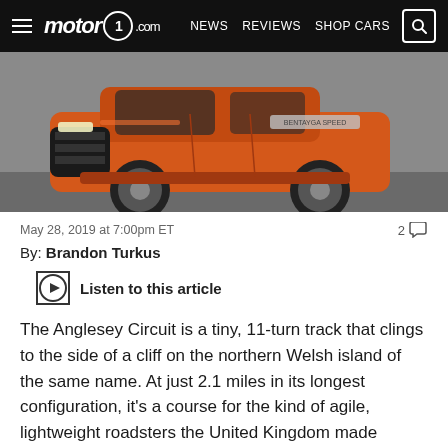motor1.com — NEWS  REVIEWS  SHOP CARS
[Figure (photo): Front view of an orange Bentley Bentayga Speed SUV on a grey background]
May 28, 2019 at 7:00pm ET
By: Brandon Turkus
Listen to this article
The Anglesey Circuit is a tiny, 11-turn track that clings to the side of a cliff on the northern Welsh island of the same name. At just 2.1 miles in its longest configuration, it's a course for the kind of agile, lightweight roadsters the United Kingdom made famous. It is not a place to thunder about in a 5,500-